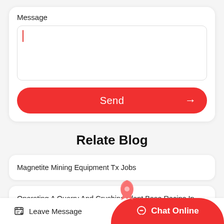Message
[Figure (screenshot): Text area input field with red cursor on the left side, empty white box with rounded border]
Send →
Relate Blog
Magnetite Mining Equipment Tx Jobs
Operating A Quarry And Crushing Plant Base Recipe In Ha...
Leave Message   Chat Online